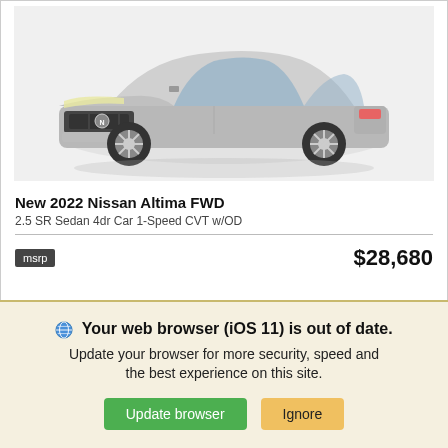[Figure (photo): Silver Nissan Altima FWD sedan, front three-quarter view on white background]
New 2022 Nissan Altima FWD
2.5 SR Sedan 4dr Car 1-Speed CVT w/OD
msrp   $28,680
We use cookies to optimize our website and our service.
Cookie Policy   Privacy Statement
Your web browser (iOS 11) is out of date. Update your browser for more security, speed and the best experience on this site.